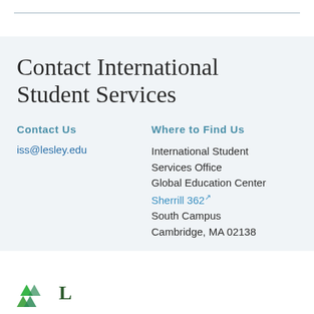Contact International Student Services
Contact Us
iss@lesley.edu
Where to Find Us
International Student Services Office
Global Education Center
Sherrill 362
South Campus
Cambridge, MA 02138
[Figure (logo): Lesley University logo with green triangles]